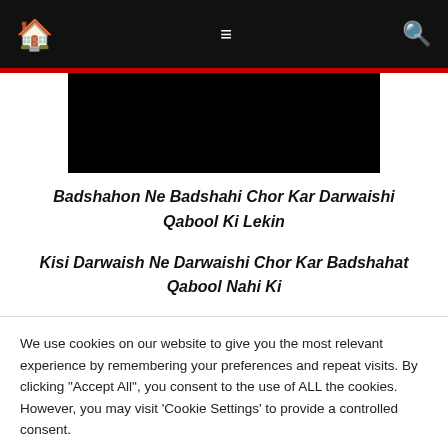Home | Menu | Search
[Figure (photo): Black image/banner area below navigation bar]
Badshahon Ne Badshahi Chor Kar Darwaishi Qabool Ki Lekin

Kisi Darwaish Ne Darwaishi Chor Kar Badshahat Qabool Nahi Ki

– Wasif Ali Waisf Quotes in Urdu
We use cookies on our website to give you the most relevant experience by remembering your preferences and repeat visits. By clicking "Accept All", you consent to the use of ALL the cookies. However, you may visit 'Cookie Settings' to provide a controlled consent.
Cookie Settings | Accept All